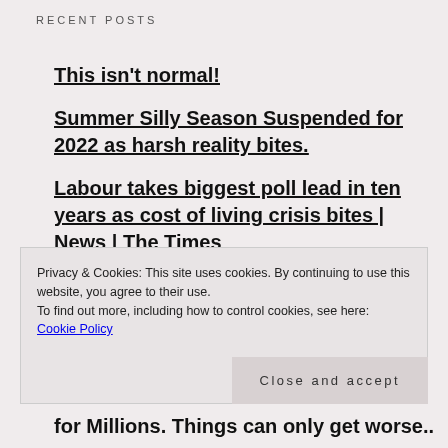RECENT POSTS
This isn't normal!
Summer Silly Season Suspended for 2022 as harsh reality bites.
Labour takes biggest poll lead in ten years as cost of living crisis bites | News | The Times
Privacy & Cookies: This site uses cookies. By continuing to use this website, you agree to their use.
To find out more, including how to control cookies, see here:
Cookie Policy
Close and accept
for Millions. Things can only get worse..